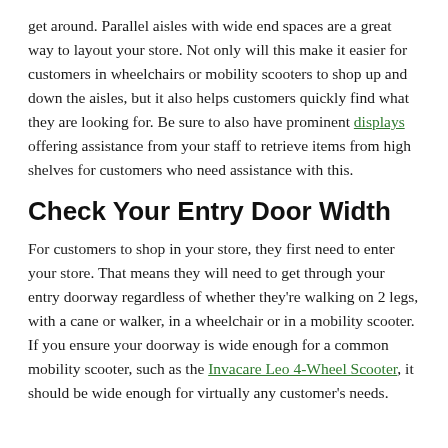get around. Parallel aisles with wide end spaces are a great way to layout your store. Not only will this make it easier for customers in wheelchairs or mobility scooters to shop up and down the aisles, but it also helps customers quickly find what they are looking for. Be sure to also have prominent displays offering assistance from your staff to retrieve items from high shelves for customers who need assistance with this.
Check Your Entry Door Width
For customers to shop in your store, they first need to enter your store. That means they will need to get through your entry doorway regardless of whether they're walking on 2 legs, with a cane or walker, in a wheelchair or in a mobility scooter. If you ensure your doorway is wide enough for a common mobility scooter, such as the Invacare Leo 4-Wheel Scooter, it should be wide enough for virtually any customer's needs.